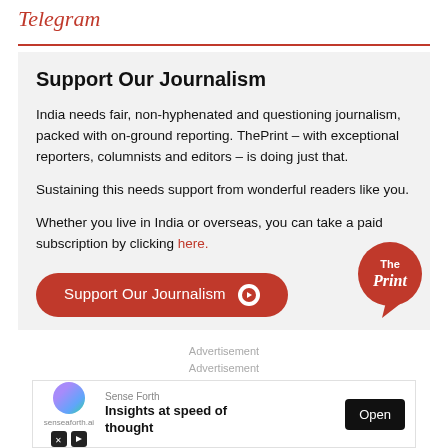Telegram
Support Our Journalism
India needs fair, non-hyphenated and questioning journalism, packed with on-ground reporting. ThePrint – with exceptional reporters, columnists and editors – is doing just that.
Sustaining this needs support from wonderful readers like you.
Whether you live in India or overseas, you can take a paid subscription by clicking here.
[Figure (other): Orange rounded button with text 'Support Our Journalism' and a white arrow circle icon]
[Figure (logo): The Print logo — circular orange badge with 'The Print' text and speech bubble tail]
Advertisement
Advertisement
[Figure (other): Advertisement banner: Sense Forth — Insights at speed of thought — Open button]